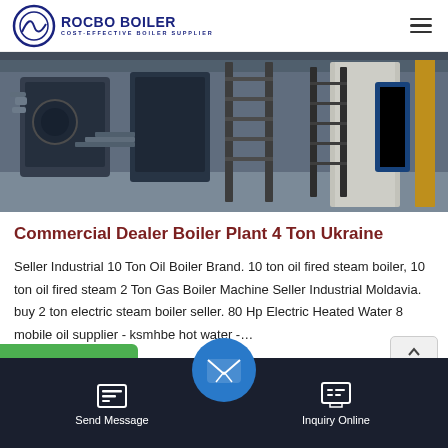ROCBO BOILER — COST-EFFECTIVE BOILER SUPPLIER
[Figure (photo): Industrial boiler room with large boilers, metal ladders, pipes, and yellow column]
Commercial Dealer Boiler Plant 4 Ton Ukraine
Seller Industrial 10 Ton Oil Boiler Brand. 10 ton oil fired steam boiler, 10 ton oil fired steam 2 Ton Gas Boiler Machine Seller Industrial Moldavia. buy 2 ton electric steam boiler seller. 80 Hp Electric Heated Water 8 mobile oil supplier - ksmhbe hot water -…
Send Message | Inquiry Online